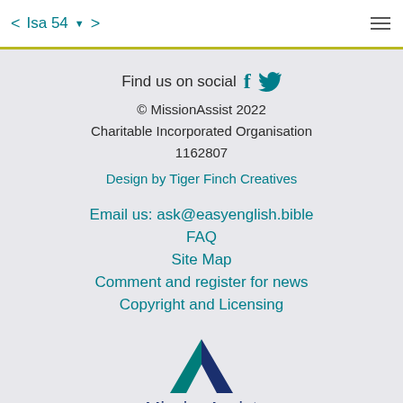< Isa 54 ▼ >
Find us on social [Facebook] [Twitter]
© MissionAssist 2022
Charitable Incorporated Organisation
1162807
Design by Tiger Finch Creatives
Email us: ask@easyenglish.bible
FAQ
Site Map
Comment and register for news
Copyright and Licensing
[Figure (logo): MissionAssist logo with teal and dark blue triangle M shape above the text MissionAssist]